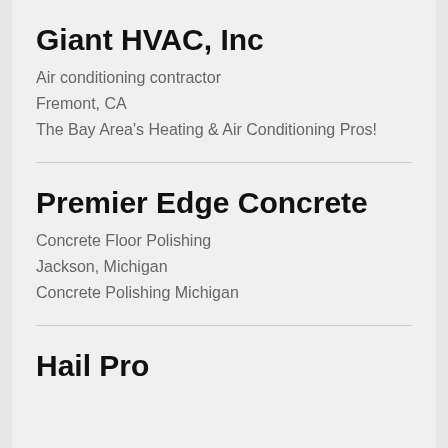Giant HVAC, Inc
Air conditioning contractor
Fremont, CA
The Bay Area's Heating & Air Conditioning Pros!
Premier Edge Concrete
Concrete Floor Polishing
Jackson, Michigan
Concrete Polishing Michigan
Hail Pro